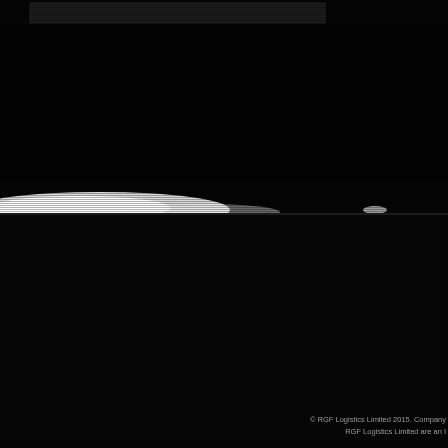[Figure (photo): Dark/black background image with a faint white mountain-like horizon at the bottom edge, scanline effect overlaid, and a lighter rectangular bar element near the top left.]
© RGF Logistics Limited 2015. Company RGF Logistics Limited are an I